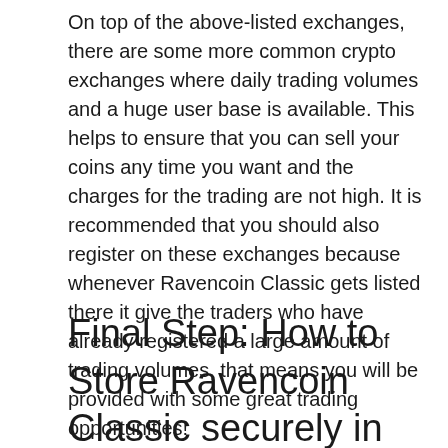On top of the above-listed exchanges, there are some more common crypto exchanges where daily trading volumes and a huge user base is available. This helps to ensure that you can sell your coins any time you want and the charges for the trading are not high. It is recommended that you should also register on these exchanges because whenever Ravencoin Classic gets listed there it give the traders who have already registered a large amount of trading volumes, that means you will be provided with some great trading opportunities!
Final Step: How to Store Ravencoin Classic securely in hardware wallets